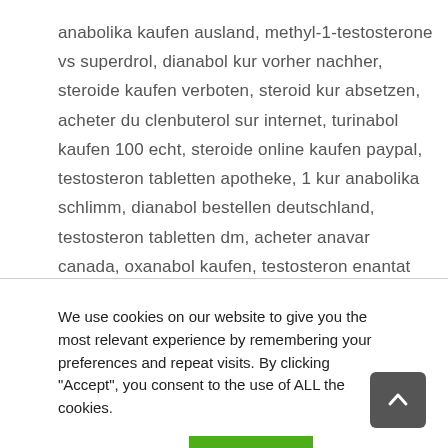anabolika kaufen ausland, methyl-1-testosterone vs superdrol, dianabol kur vorher nachher, steroide kaufen verboten, steroid kur absetzen, acheter du clenbuterol sur internet, turinabol kaufen 100 echt, steroide online kaufen paypal, testosteron tabletten apotheke, 1 kur anabolika schlimm, dianabol bestellen deutschland, testosteron tabletten dm, acheter anavar canada, oxanabol kaufen, testosteron enantat ampullen kaufen, anabolika tabletten kaufen schweiz, steroide kur plan,
We use cookies on our website to give you the most relevant experience by remembering your preferences and repeat visits. By clicking "Accept", you consent to the use of ALL the cookies.
Cookie settings
ACCEPT